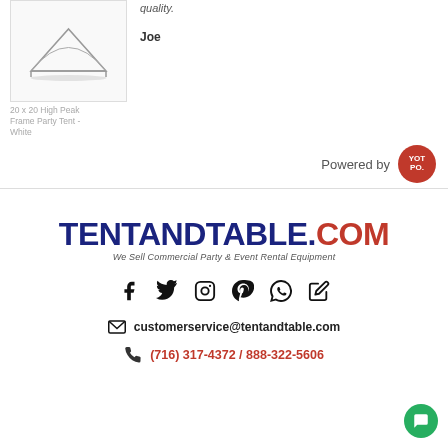[Figure (photo): Product image of 20x20 High Peak Frame Party Tent in white, inside a bordered box]
20 x 20 High Peak Frame Party Tent - White
quality.
Joe
[Figure (logo): Yotpo badge - circular red badge with YOT PO. text in white, preceded by 'Powered by' text]
[Figure (logo): TENTANDTABLE.COM logo in dark blue and red, with tagline 'We Sell Commercial Party & Event Rental Equipment']
[Figure (infographic): Social media icons row: Facebook, Twitter, Instagram, Pinterest, WhatsApp, Edit/Blog]
customerservice@tentandtable.com
(716) 317-4372 / 888-322-5606